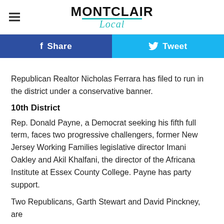MONTCLAIR Local
[Figure (other): Facebook Share button and Twitter Tweet button social sharing bar]
Republican Realtor Nicholas Ferrara has filed to run in the district under a conservative banner.
10th District
Rep. Donald Payne, a Democrat seeking his fifth full term, faces two progressive challengers, former New Jersey Working Families legislative director Imani Oakley and Akil Khalfani, the director of the Africana Institute at Essex County College. Payne has party support.
Two Republicans, Garth Stewart and David Pinckney, are